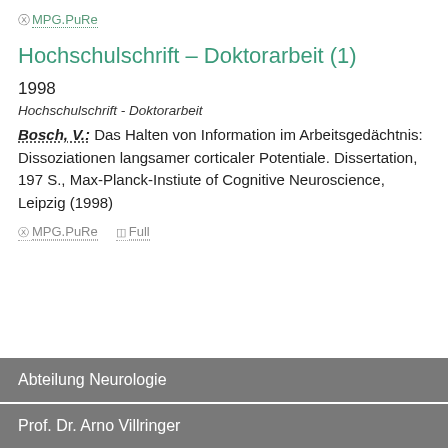MPG.PuRe
Hochschulschrift – Doktorarbeit (1)
1998
Hochschulschrift - Doktorarbeit
Bosch, V.: Das Halten von Information im Arbeitsgedächtnis: Dissoziationen langsamer corticaler Potentiale. Dissertation, 197 S., Max-Planck-Instiute of Cognitive Neuroscience, Leipzig (1998)
MPG.PuRe   Full
Abteilung Neurologie
Prof. Dr. Arno Villringer